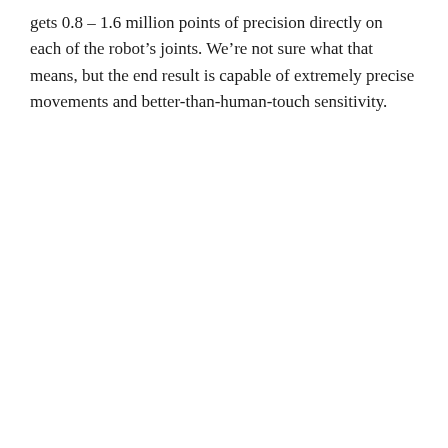gets 0.8 – 1.6 million points of precision directly on each of the robot's joints. We're not sure what that means, but the end result is capable of extremely precise movements and better-than-human-touch sensitivity.